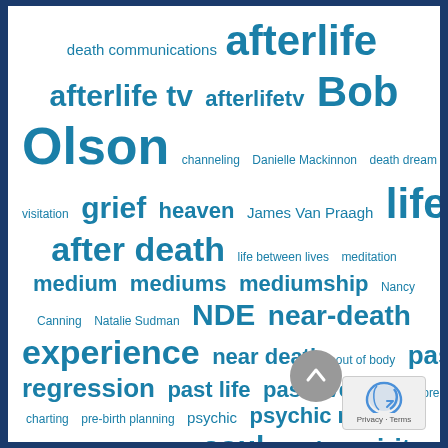[Figure (infographic): Word cloud with spirituality and afterlife related terms in various sizes, displayed in teal/blue color on white background with dark blue border. Terms include: death communications, afterlife, afterlife tv, afterlifetv, Bob Olson, channeling, Danielle Mackinnon, death dream visitation, grief, heaven, James Van Praagh, life after death, life between lives, meditation, medium, mediums, mediumship, Nancy Canning, Natalie Sudman, NDE, near-death experience, near death, out of body, past-life regression, past life, past lives, prayer, pre-birth charting, pre-birth planning, psychic, psychic medium, signs, signs from spirit, soul, souls, spirit, spirit communication, spirit contact]